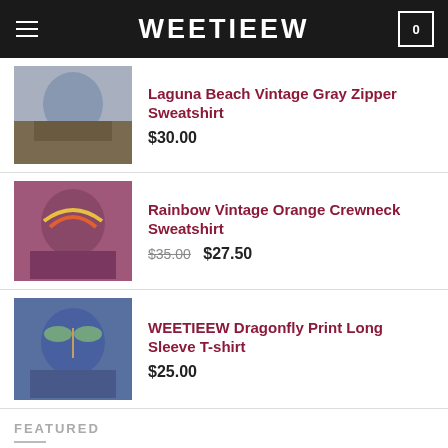WEETIEEW
Laguna Beach Vintage Gray Zipper Sweatshirt $30.00
Rainbow Vintage Orange Crewneck Sweatshirt $35.00 $27.50
WEETIEEW Dragonfly Print Long Sleeve T-shirt $25.00
FEATURED
Beige Sexy Suspender Dress $46.00 $21.95